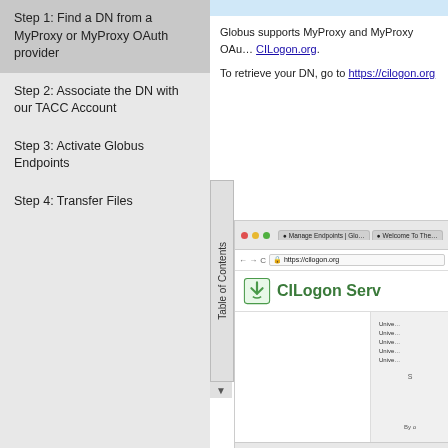Step 1: Find a DN from a MyProxy or MyProxy OAuth provider
Step 2: Associate the DN with our TACC Account
Step 3: Activate Globus Endpoints
Step 4: Transfer Files
Globus supports MyProxy and MyProxy OAu... CILogon.org.
To retrieve your DN, go to https://cilogon.org
[Figure (screenshot): Screenshot of the CILogon.org website showing the CILogon Service page with a browser address bar showing https://cilogon.org and a list of university options on the right side.]